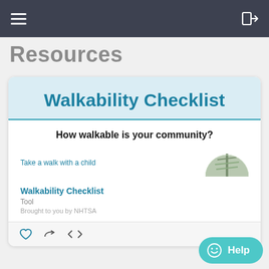≡  →]
Resources
[Figure (screenshot): Walkability Checklist resource card showing a preview of the checklist document with 'How walkable is your community?' subtitle and 'Take a walk with a child' preview text, attributed to NHTSA as a Tool resource.]
Walkability Checklist
How walkable is your community?
Take a walk with a child
Walkability Checklist
Tool
Brought to you by NHTSA